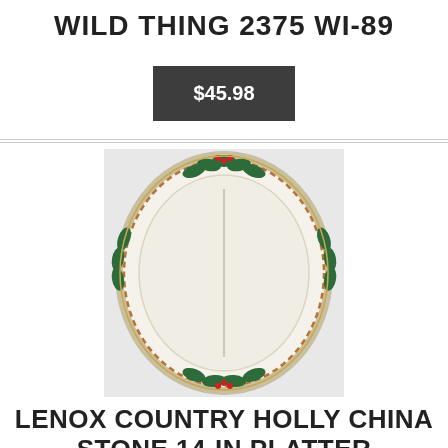WILD THING 2375 WI-89
$45.98
[Figure (photo): Oval Lenox Country Holly china stone platter with green holly leaf border decoration and divided interior, cream colored with gold trim accents.]
LENOX COUNTRY HOLLY CHINA STONE 14-IN PLATTER CHRISTMAS